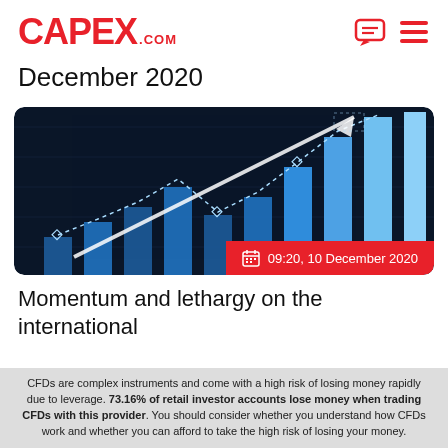CAPEX.COM
December 2020
[Figure (photo): Dark blue financial bar chart with upward arrow and dotted line overlaid, representing market momentum. Timestamp badge: 09:20, 10 December 2020]
Momentum and lethargy on the international
CFDs are complex instruments and come with a high risk of losing money rapidly due to leverage. 73.16% of retail investor accounts lose money when trading CFDs with this provider. You should consider whether you understand how CFDs work and whether you can afford to take the high risk of losing your money.